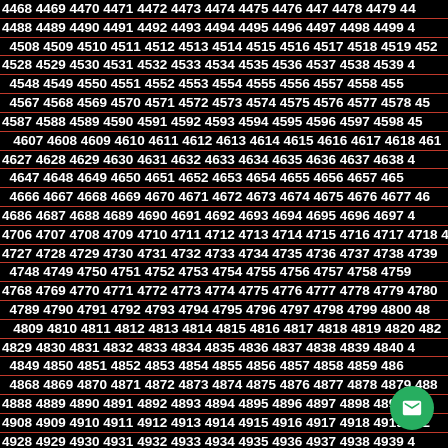4468 4469 4470 4471 4472 4473 4474 4475 4476 447 4478 4479 4480 4488 4489 4490 4491 4492 4493 4494 4495 4496 4497 4498 4499 4508 4509 4510 4511 4512 4513 4514 4515 4516 4517 4518 4519 4520 4528 4529 4530 4531 4532 4533 4534 4535 4536 4537 4538 4539 4548 4549 4550 4551 4552 4553 4554 4555 4556 4557 4558 4559 4567 4568 4569 4570 4571 4572 4573 4574 4575 4576 4577 4578 4587 4588 4589 4590 4591 4592 4593 4594 4595 4596 4597 4598 4607 4608 4609 4610 4611 4612 4613 4614 4615 4616 4617 4618 4627 4628 4629 4630 4631 4632 4633 4634 4635 4636 4637 4638 4647 4648 4649 4650 4651 4652 4653 4654 4655 4656 4657 4658 4666 4667 4668 4669 4670 4671 4672 4673 4674 4675 4676 4677 4686 4687 4688 4689 4690 4691 4692 4693 4694 4695 4696 4697 4706 4707 4708 4709 4710 4711 4712 4713 4714 4715 4716 4717 4727 4728 4729 4730 4731 4732 4733 4734 4735 4736 4737 4738 4748 4749 4750 4751 4752 4753 4754 4755 4756 4757 4758 4759 4768 4769 4770 4771 4772 4773 4774 4775 4776 4777 4778 4779 4789 4790 4791 4792 4793 4794 4795 4796 4797 4798 4799 4800 4809 4810 4811 4812 4813 4814 4815 4816 4817 4818 4819 4820 4829 4830 4831 4832 4833 4834 4835 4836 4837 4838 4839 4840 4849 4850 4851 4852 4853 4854 4855 4856 4857 4858 4859 4860 4868 4869 4870 4871 4872 4873 4874 4875 4876 4877 4878 4879 4888 4889 4890 4891 4892 4893 4894 4895 4896 4897 4898 4899 4908 4909 4910 4911 4912 4913 4914 4915 4916 4917 4918 4919 4928 4929 4930 4931 4932 4933 4934 4935 4936 4937 4938 4939 4948 4949 4950 4951 4952 4953 4954 4955 4956 4957 4958 4959 4967 4968 4969 4970 4971 4972 4973 4974 4975 4976 4977 4978 4987 4988 4989 4990 4991 4992 4993 4994 4995 4996 4997 4998 5006 5007 5008 5009 5010 5011 5012 5013 5014 5015 5016 5017 5026 5027 5028 5029 5030 5031 5032 5033 5034 5035 5036 5037 5045 5046 5047 5048 5049 5050 5051 5052 5053 5054 5055 5056 5064 5065 5066 5067 5068 5069 5070 5071 5072 5073 5074 5075 5084 5085 5086 5087 5088 5089 5090 5091 5092 5093 5094 5095